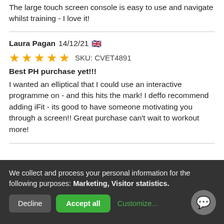The large touch screen console is easy to use and navigate whilst training - I love it!
Laura Pagan 14/12/21 🇬🇧
★★★★★  SKU: CVET4891
Best PH purchase yet!!!
I wanted an elliptical that I could use an interactive programme on - and this hits the mark! I deffo recommend adding iFit - its good to have someone motivating you through a screen!! Great purchase can't wait to workout more!
We collect and process your personal information for the following purposes: Marketing, Visitor statistics.